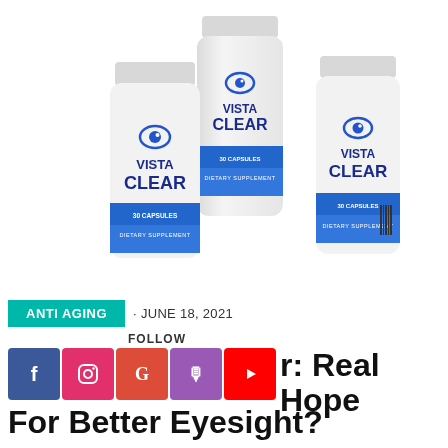[Figure (photo): Three white supplement bottles labeled 'Vista Clear' with blue eye logo, '30 Capsules', and 'Dietary Supplement' on a white background. The center bottle is tallest, flanked by two shorter bottles.]
ANTI AGING · JUNE 18, 2021
FOLLOW
[Figure (infographic): Social media follow buttons: Facebook (blue), Instagram (pink/red), Google (red), Podcast (purple), YouTube (red)]
Vista Clear: Real Hope For Better Eyesight?